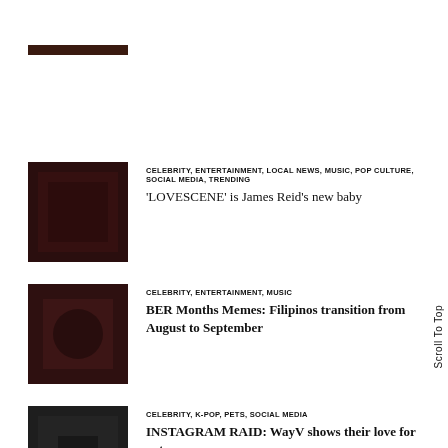[Figure (photo): Partial thumbnail image at top, cropped]
[Figure (photo): Dark reddish-brown thumbnail image for LOVESCENE article]
CELEBRITY, ENTERTAINMENT, LOCAL NEWS, MUSIC, POP CULTURE, SOCIAL MEDIA, TRENDING
‘LOVESCENE’ is James Reid’s new baby
[Figure (photo): Dark brownish-red thumbnail image for BER Months Memes article]
CELEBRITY, ENTERTAINMENT, MUSIC
BER Months Memes: Filipinos transition from August to September
[Figure (photo): Dark grayish thumbnail image for WayV INSTAGRAM RAID article]
CELEBRITY, K-POP, PETS, SOCIAL MEDIA
INSTAGRAM RAID: WayV shows their love for pets
[Figure (photo): Very dark thumbnail image for Darren Espanto article]
CELEBRITY, ENTERTAINMENT, MUSIC, P-POP, POP CULTURE
Top 3 Darren Espanto songs that should be part of
Scroll To Top